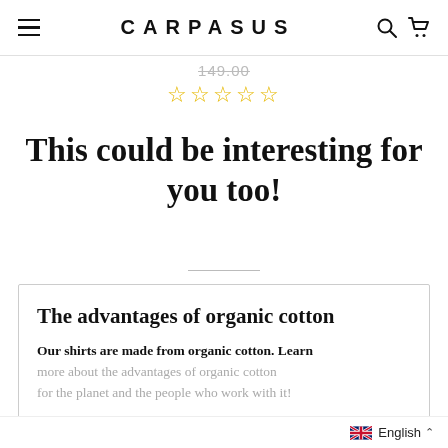CARPASUS
149.00
☆☆☆☆☆
This could be interesting for you too!
The advantages of organic cotton
Our shirts are made from organic cotton. Learn more about the advantages of organic cotton for the planet and the people who work with it!
English